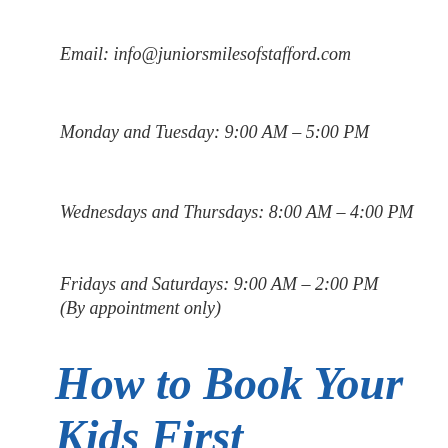Email: info@juniorsmilesofstafford.com
Monday and Tuesday: 9:00 AM – 5:00 PM
Wednesdays and Thursdays: 8:00 AM – 4:00 PM
Fridays and Saturdays: 9:00 AM – 2:00 PM (By appointment only)
How to Book Your Kids First Appointment at